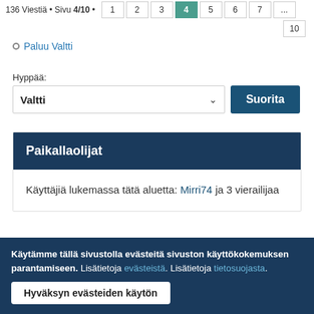136 Viestiä • Sivu 4/10 • 1 2 3 4 5 6 7 ... 10
Paluu Valtti
Hyppää:
Valtti
Suorita
Paikallaolijat
Käyttäjiä lukemassa tätä aluetta: Mirri74 ja 3 vierailijaa
Henkilökunta • Poista evästeet • Kaikki ajat ovat
Käytämme tällä sivustolla evästeitä sivuston käyttökokemuksen parantamiseen. Lisätietoja evästeistä. Lisätietoja tietosuojasta.
Hyväksyn evästeiden käytön